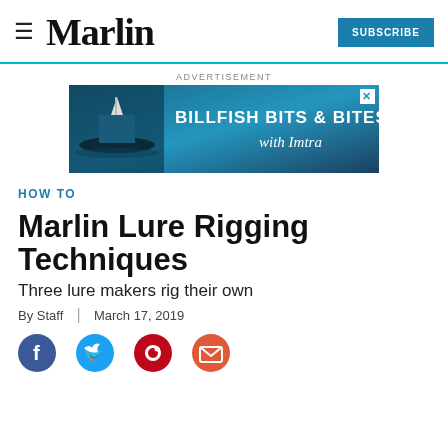Marlin — SUBSCRIBE
[Figure (photo): Advertisement banner: BILLFISH BITS & BITES with Imtra, showing a fishing boat on water]
HOW TO
Marlin Lure Rigging Techniques
Three lure makers rig their own
By Staff | March 17, 2019
[Figure (infographic): Social sharing icons: Facebook, Twitter, Pinterest, Email]